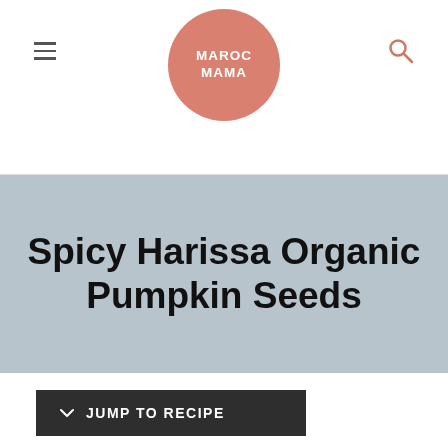MAROC MAMA
Spicy Harissa Organic Pumpkin Seeds
JUMP TO RECIPE
My kids LOVE pumpkin seeds.  Actually they love any kind of seeds or nuts, sunflower seeds, soybeans, almonds,